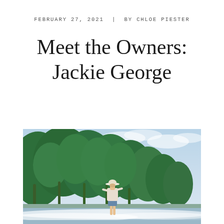FEBRUARY 27, 2021  |  BY CHLOE PIESTER
Meet the Owners: Jackie George
[Figure (photo): A woman wearing a white hat, light long-sleeve top and denim shorts stands on a surfboard or in shallow ocean water, with a backdrop of dense tropical palm trees on the left and a cloudy blue sky above.]